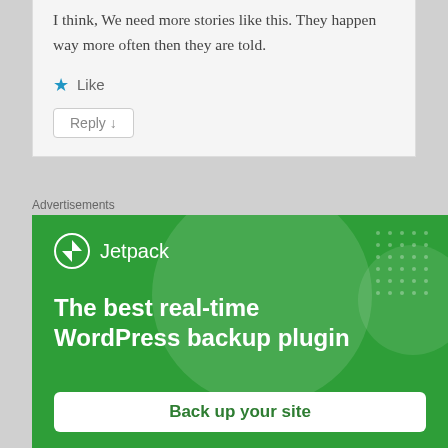I think, We need more stories like this. They happen way more often then they are told.
Like
Reply ↓
Advertisements
[Figure (screenshot): Jetpack advertisement banner on green background. Shows Jetpack logo, text 'The best real-time WordPress backup plugin', and a 'Back up your site' button.]